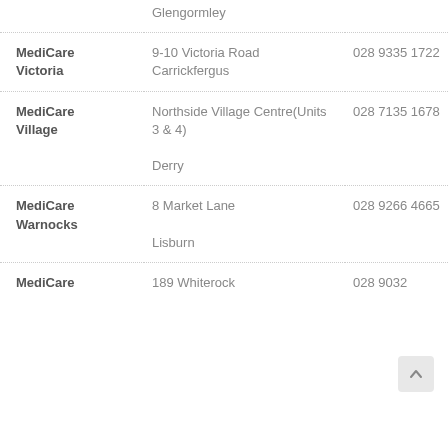| Name | Address | Phone |
| --- | --- | --- |
|  | Glengormley |  |
| MediCare Victoria | 9-10 Victoria Road
Carrickfergus | 028 9335 1722 |
| MediCare Village | Northside Village Centre(Units 3 & 4)
Derry | 028 7135 1678 |
| MediCare Warnocks | 8 Market Lane
Lisburn | 028 9266 4665 |
| MediCare | 189 Whiterock | 028 9032 |